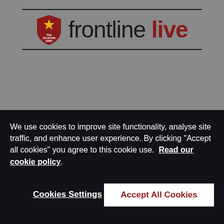[Figure (logo): Frontline Live logo with Salvation Army shield emblem. Black horizontal lines above and below. 'frontline' in black and 'live' in dark red bold text.]
We use cookies to improve site functionality, analyse site traffic, and enhance user experience. By clicking "Accept all cookies" you agree to this cookie use.  Read our cookie policy.
Cookies Settings
Accept All Cookies